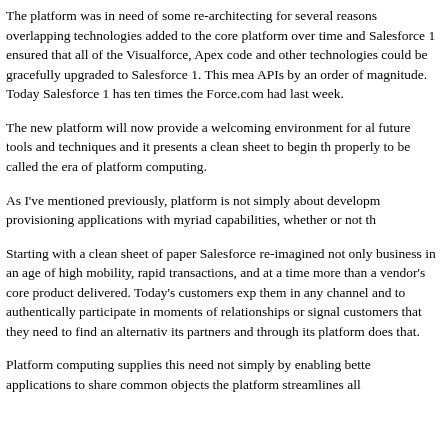The platform was in need of some re-architecting for several reasons overlapping technologies added to the core platform over time and Salesforce 1 ensured that all of the Visualforce, Apex code and other technologies could be gracefully upgraded to Salesforce 1. This mea APIs by an order of magnitude. Today Salesforce 1 has ten times the Force.com had last week.
The new platform will now provide a welcoming environment for all future tools and techniques and it presents a clean sheet to begin th properly to be called the era of platform computing.
As I've mentioned previously, platform is not simply about developm provisioning applications with myriad capabilities, whether or not th
Starting with a clean sheet of paper Salesforce re-imagined not only business in an age of high mobility, rapid transactions, and at a time more than a vendor's core product delivered. Today's customers exp them in any channel and to authentically participate in moments of relationships or signal customers that they need to find an alternativ its partners and through its platform does that.
Platform computing supplies this need not simply by enabling bette applications to share common objects the platform streamlines all